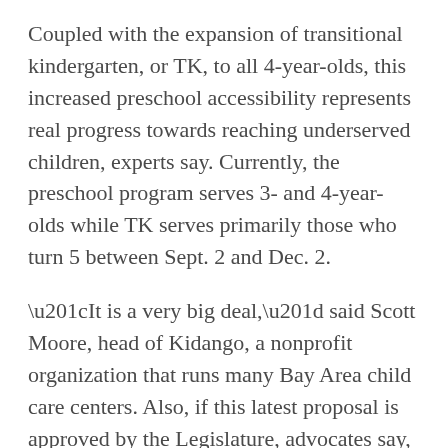Coupled with the expansion of transitional kindergarten, or TK, to all 4-year-olds, this increased preschool accessibility represents real progress towards reaching underserved children, experts say. Currently, the preschool program serves 3- and 4-year-olds while TK serves primarily those who turn 5 between Sept. 2 and Dec. 2.
“It is a very big deal,” said Scott Moore, head of Kidango, a nonprofit organization that runs many Bay Area child care centers. Also, if this latest proposal is approved by the Legislature, advocates say, the 2-year-olds coming into state preschool could fill the seats vacated by the 4-year-olds headed to TK, helping maintain balance in the system.
“It allows children who need the most to get the most, and it allows for a major expansion for high-quality